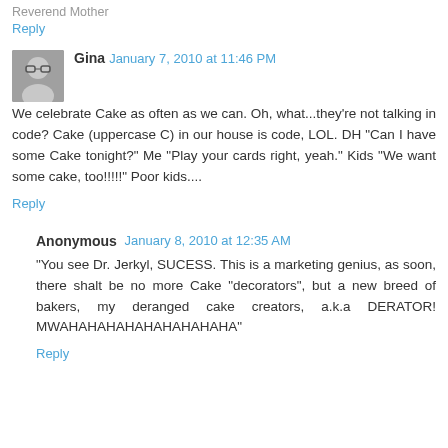Reverend Mother
Reply
Gina  January 7, 2010 at 11:46 PM
We celebrate Cake as often as we can. Oh, what...they're not talking in code? Cake (uppercase C) in our house is code, LOL. DH "Can I have some Cake tonight?" Me "Play your cards right, yeah." Kids "We want some cake, too!!!!!" Poor kids....
Reply
Anonymous  January 8, 2010 at 12:35 AM
"You see Dr. Jerkyl, SUCESS. This is a marketing genius, as soon, there shalt be no more Cake "decorators", but a new breed of bakers, my deranged cake creators, a.k.a DERATOR! MWAHAHAHAHAHAHAHAHAHA"
Reply